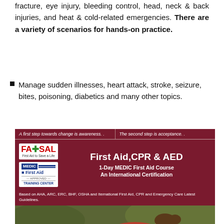fracture, eye injury, bleeding control, head, neck & back injuries, and heat & cold-related emergencies. There are a variety of scenarios for hands-on practice.
Manage sudden illnesses, heart attack, stroke, seizure, bites, poisoning, diabetics and many other topics.
[Figure (infographic): First Aid CPR & AED course advertisement banner for FASAL (First Aid to Save a Life) featuring MEDIC First Aid Approved Training Center logos. Maroon background with text: 'A first step towards change is awareness.. The second step is acceptance..' and main content: 'First Aid, CPR & AED, 1-Day MEDIC First Aid Course, An International Certification'. Footer: 'Based on AHA, ARC, ERC, BHF, OSHA and Iternational First Aid, CPR and Emergency Care Latest Guidelines.' Below is a photo of a person performing CPR.]